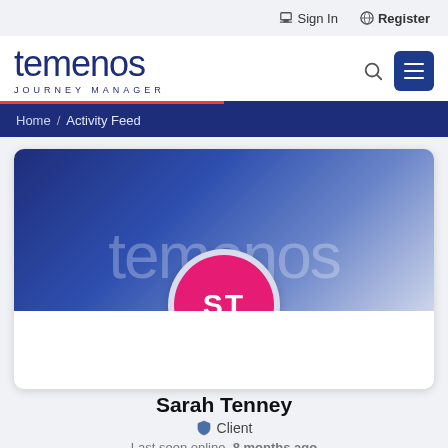Sign In  Register
[Figure (logo): Temenos Journey Manager logo with search and menu icons]
Home / Activity Feed
[Figure (illustration): Profile banner with blue gradient background and 'temenos' watermark text. Avatar circle with initials ST on pink/magenta background.]
Sarah Tenney
Client
Last seen online, 8 months ago